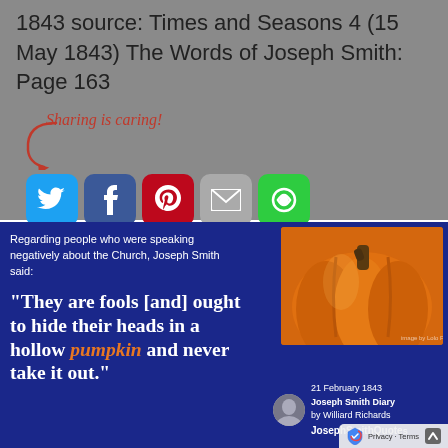1843 source: Times and Seasons 4 (15 May 1843) The Words of Joseph Smith: Page 163
[Figure (infographic): Sharing is caring social share buttons: Twitter (blue), Facebook (dark blue), Pinterest (red), Email (grey), Other/SumoMe (green)]
[Figure (infographic): Blue background image with Joseph Smith quote about people speaking negatively about the Church: 'They are fools [and] ought to hide their heads in a hollow pumpkin and never take it out.' with a pumpkin photo, dated 21 February 1843, Joseph Smith Diary by Williard Richards, JosephSmithQuotes]